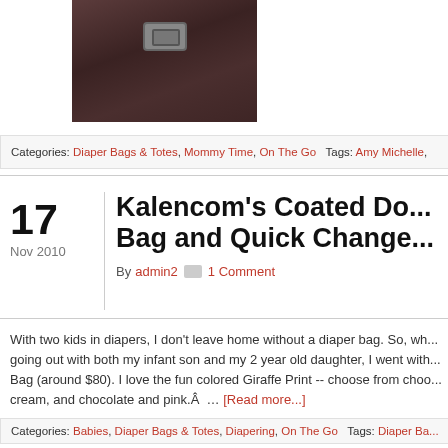[Figure (photo): Photo of a dark brown leather diaper bag with a metal clasp]
Categories: Diaper Bags & Totes, Mommy Time, On The Go   Tags: Amy Michelle,
Kalencom's Coated Do... Bag and Quick Change...
17 Nov 2010
By admin2  1 Comment
With two kids in diapers, I don't leave home without a diaper bag. So, wh... going out with both my infant son and my 2 year old daughter, I went with... Bag (around $80). I love the fun colored Giraffe Print -- choose from choo... cream, and chocolate and pink.Â  … [Read more...]
Categories: Babies, Diaper Bags & Totes, Diapering, On The Go   Tags: Diaper Ba...